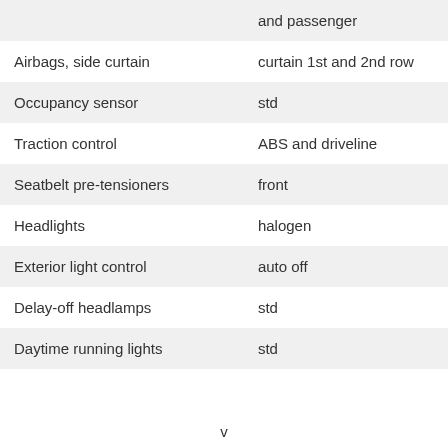| Feature | Value |
| --- | --- |
|  | and passenger |
| Airbags, side curtain | curtain 1st and 2nd row |
| Occupancy sensor | std |
| Traction control | ABS and driveline |
| Seatbelt pre-tensioners | front |
| Headlights | halogen |
| Exterior light control | auto off |
| Delay-off headlamps | std |
| Daytime running lights | std |
v